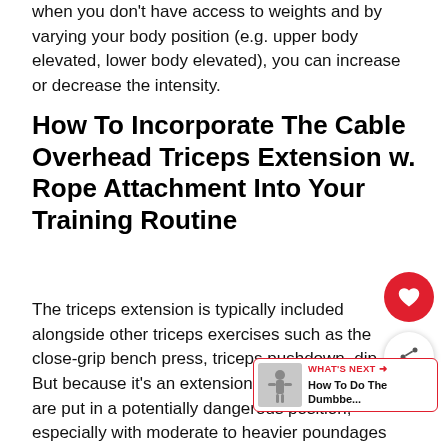when you don't have access to weights and by varying your body position (e.g. upper body elevated, lower body elevated), you can increase or decrease the intensity.
How To Incorporate The Cable Overhead Triceps Extension w. Rope Attachment Into Your Training Routine
The triceps extension is typically included alongside other triceps exercises such as the close-grip bench press, triceps pushdown, dip, etc. But because it's an extension exercise, the elbows are put in a potentially dangerous position, especially with moderate to heavier poundages being used.